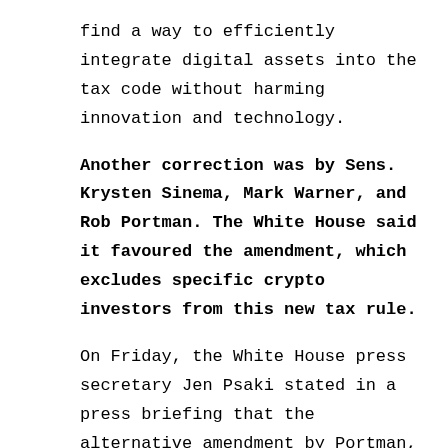find a way to efficiently integrate digital assets into the tax code without harming innovation and technology.
Another correction was by Sens. Krysten Sinema, Mark Warner, and Rob Portman. The White House said it favoured the amendment, which excludes specific crypto investors from this new tax rule.
On Friday, the White House press secretary Jen Psaki stated in a press briefing that the alternative amendment by Portman, Senators Warner, and Sinema seems able to make the right balance. He added that it might make a significant step in promoting tax compliance.
Companies interested in crypto started to push back, stating that the amendments didn't work enough to protect an industry.